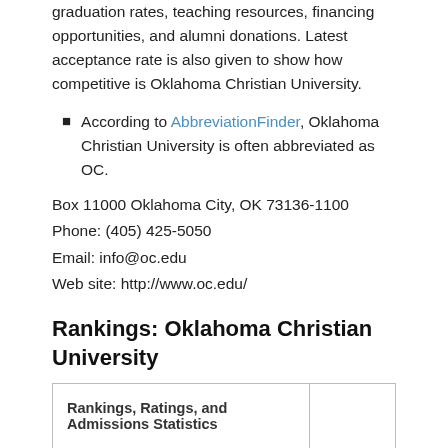graduation rates, teaching resources, financing opportunities, and alumni donations. Latest acceptance rate is also given to show how competitive is Oklahoma Christian University.
According to AbbreviationFinder, Oklahoma Christian University is often abbreviated as OC.
Box 11000 Oklahoma City, OK 73136-1100
Phone: (405) 425-5050
Email: info@oc.edu
Web site: http://www.oc.edu/
Rankings: Oklahoma Christian University
| Rankings, Ratings, and Admissions Statistics |  |
| --- | --- |
| Overall Ranking: | 44 |